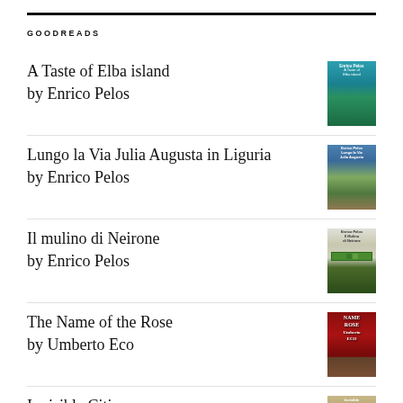GOODREADS
A Taste of Elba island
by Enrico Pelos
Lungo la Via Julia Augusta in Liguria
by Enrico Pelos
Il mulino di Neirone
by Enrico Pelos
The Name of the Rose
by Umberto Eco
Invisible Cities